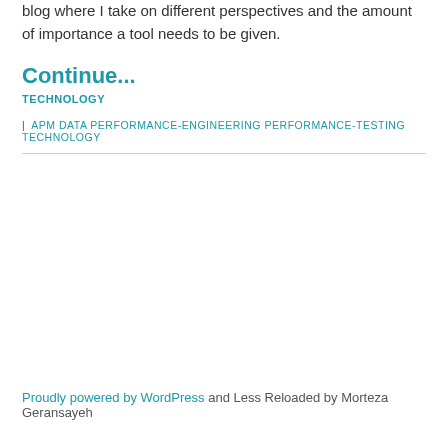blog where I take on different perspectives and the amount of importance a tool needs to be given.
Continue...
TECHNOLOGY
| APM DATA PERFORMANCE-ENGINEERING PERFORMANCE-TESTING TECHNOLOGY
Proudly powered by WordPress and Less Reloaded by Morteza Geransayeh